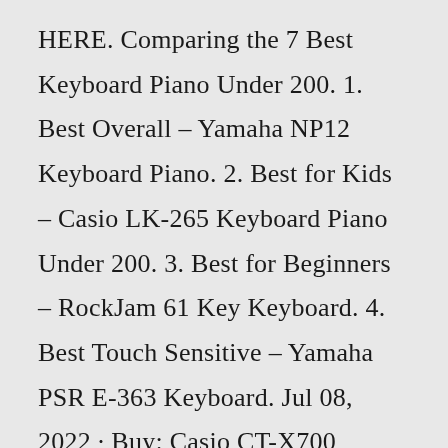HERE. Comparing the 7 Best Keyboard Piano Under 200. 1. Best Overall – Yamaha NP12 Keyboard Piano. 2. Best for Kids – Casio LK-265 Keyboard Piano Under 200. 3. Best for Beginners – RockJam 61 Key Keyboard. 4. Best Touch Sensitive – Yamaha PSR E-363 Keyboard. Jul 08, 2022 · Buy: Casio CT-X700 Portable Keyboard at $289.99. 2. YAMAHA YPT260 Portable Keyboard. Yamaha is known for its finely